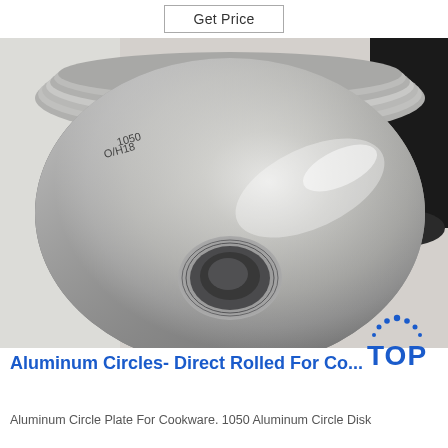Get Price
[Figure (photo): Large roll of aluminum circles/discs, showing the spiral edge of a rolled aluminum coil with a center hole visible, held by a person in dark clothing against a light background]
[Figure (logo): TOP logo with dotted arc above — blue text 'TOP']
Aluminum Circles- Direct Rolled For Co...
Aluminum Circle Plate For Cookware. 1050 Aluminum Circle Disk